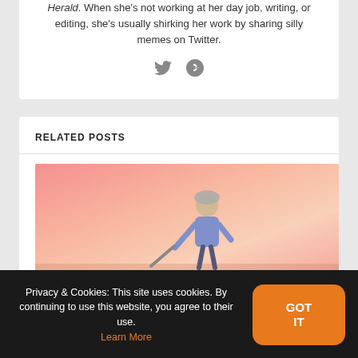Herald. When she's not working at her day job, writing, or editing, she's usually shirking her work by sharing silly memes on Twitter.
[Figure (illustration): Illustration of a person in a purple/blue outfit holding a stick, set against a pink/salmon gradient sky background]
RELATED POSTS
Privacy & Cookies: This site uses cookies. By continuing to use this website, you agree to their use. Learn More